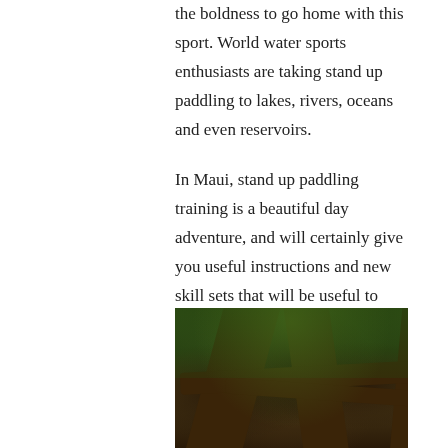the boldness to go home with this sport. World water sports enthusiasts are taking stand up paddling to lakes, rivers, oceans and even reservoirs.
In Maui, stand up paddling training is a beautiful day adventure, and will certainly give you useful instructions and new skill sets that will be useful to take away.
10) Lahaina's Banyan Tree
Lahaina's Banyan Tree is aged over 137 years old and is seen all over 1-acre of downtown Lahaina.
[Figure (photo): Photo of a large banyan tree with thick sprawling branches and dense green canopy]